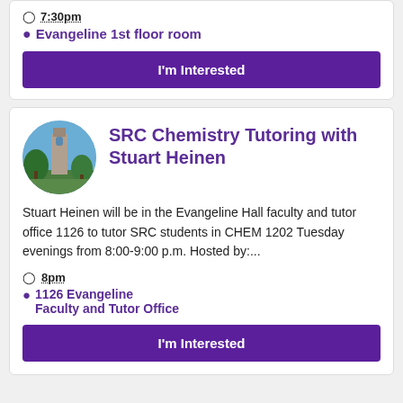7:30pm
Evangeline 1st floor room
I'm Interested
SRC Chemistry Tutoring with Stuart Heinen
[Figure (photo): Circular photo of a campus building (tower) with trees]
Stuart Heinen will be in the Evangeline Hall faculty and tutor office 1126 to tutor SRC students in CHEM 1202 Tuesday evenings from 8:00-9:00 p.m. Hosted by:...
8pm
1126 Evangeline Faculty and Tutor Office
I'm Interested